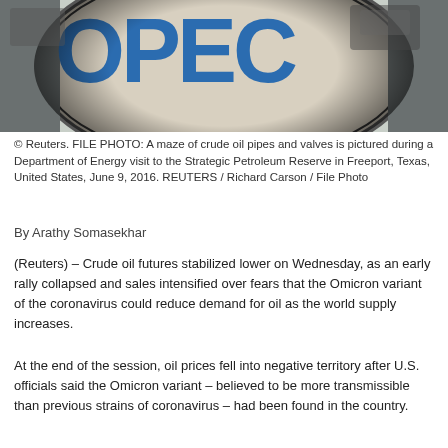[Figure (photo): Photo of OPEC logo sign — large blue OPEC letters/symbol on a round metallic/reflective surface, with cars visible in background reflection. Fisheye lens effect.]
© Reuters. FILE PHOTO: A maze of crude oil pipes and valves is pictured during a Department of Energy visit to the Strategic Petroleum Reserve in Freeport, Texas, United States, June 9, 2016. REUTERS / Richard Carson / File Photo
By Arathy Somasekhar
(Reuters) – Crude oil futures stabilized lower on Wednesday, as an early rally collapsed and sales intensified over fears that the Omicron variant of the coronavirus could reduce demand for oil as the world supply increases.
At the end of the session, oil prices fell into negative territory after U.S. officials said the Omicron variant – believed to be more transmissible than previous strains of coronavirus – had been found in the country.